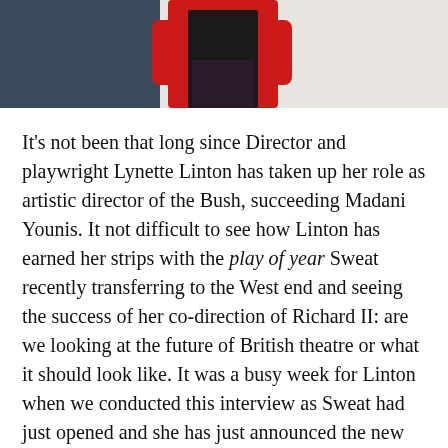[Figure (photo): Partial photo of a person wearing a red jacket and black top, cropped at the page top, with a light background on the right side.]
It's not been that long since Director and playwright Lynette Linton has taken up her role as artistic director of the Bush, succeeding Madani Younis. It not difficult to see how Linton has earned her strips with the play of year Sweat recently transferring to the West end and seeing the success of her co-direction of Richard II: are we looking at the future of British theatre or what it should look like. It was a busy week for Linton when we conducted this interview as Sweat had just opened and she has just announced the new season at the Bush. She states: “Sweat opened a few days before I announced the season, so I didn’t get